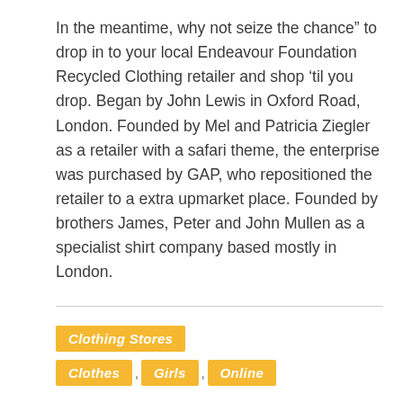In the meantime, why not seize the chance” to drop in to your local Endeavour Foundation Recycled Clothing retailer and shop ‘til you drop. Began by John Lewis in Oxford Road, London. Founded by Mel and Patricia Ziegler as a retailer with a safari theme, the enterprise was purchased by GAP, who repositioned the retailer to a extra upmarket place. Founded by brothers James, Peter and John Mullen as a specialist shirt company based mostly in London.
Clothing Stores
Clothes , Girls , Online